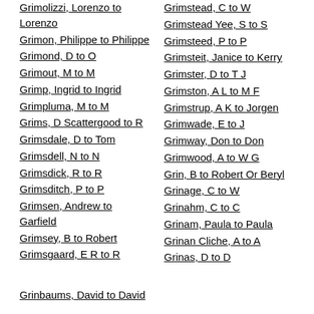Grimolizzi, Lorenzo to Lorenzo
Grimon, Philippe to Philippe
Grimond, D to O
Grimout, M to M
Grimp, Ingrid to Ingrid
Grimpluma, M to M
Grims, D Scattergood to R
Grimsdale, D to Tom
Grimsdell, N to N
Grimsdick, R to R
Grimsditch, P to P
Grimsen, Andrew to Garfield
Grimsey, B to Robert
Grimsgaard, E R to R
Grimstead, C to W
Grimstead Yee, S to S
Grimsteed, P to P
Grimsteit, Janice to Kerry
Grimster, D to T J
Grimston, A L to M F
Grimstrup, A K to Jorgen
Grimwade, E to J
Grimway, Don to Don
Grimwood, A to W G
Grin, B to Robert Or Beryl
Grinage, C to W
Grinahm, C to C
Grinam, Paula to Paula
Grinan Cliche, A to A
Grinas, D to D
Grinbaums, David to David